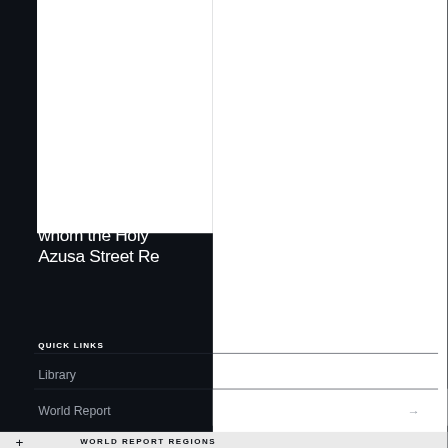whom the Holy
Azusa Street Re
QUICK LINKS
Library
World Report →
+ WORLD REPORT REGIONS